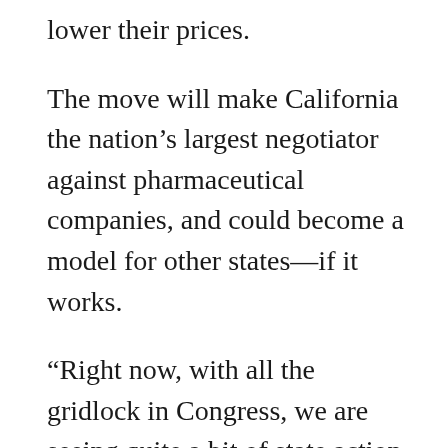lower their prices.
The move will make California the nation’s largest negotiator against pharmaceutical companies, and could become a model for other states—if it works.
“Right now, with all the gridlock in Congress, we are seeing quite a bit of state action on prescription drug pricing—and we hope that advances as much as it can until we can see some change in Congress,” said Peter Maybarduk, who specializes in medicine access at Public